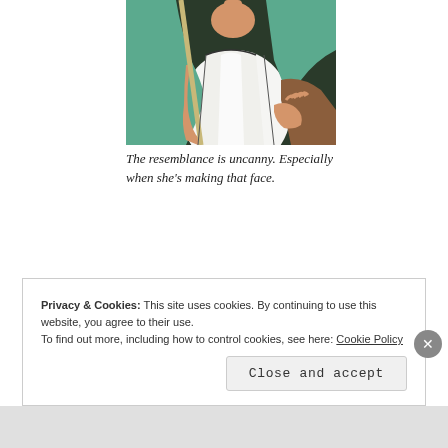[Figure (illustration): Cropped illustration of an animated-style figure (woman) wearing a white apron and teal/green top, holding a stick or broom handle, with hands visible, dark background.]
The resemblance is uncanny. Especially when she's making that face.
Privacy & Cookies: This site uses cookies. By continuing to use this website, you agree to their use.
To find out more, including how to control cookies, see here: Cookie Policy
Close and accept